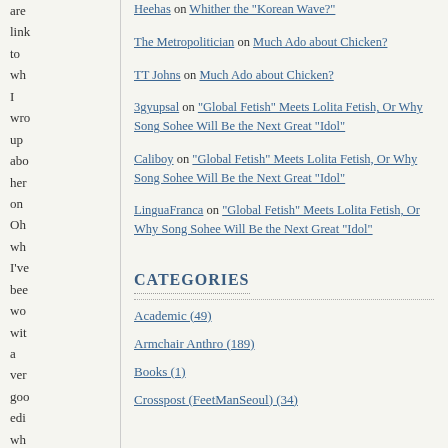are link to wh I wro up abo her on Oh wh I've bee wo wit a ver goo edi wh I me
Heehas on Whither the "Korean Wave?"
The Metropolitician on Much Ado about Chicken?
TT Johns on Much Ado about Chicken?
3gyupsal on "Global Fetish" Meets Lolita Fetish, Or Why Song Sohee Will Be the Next Great "Idol"
Caliboy on "Global Fetish" Meets Lolita Fetish, Or Why Song Sohee Will Be the Next Great "Idol"
LinguaFranca on "Global Fetish" Meets Lolita Fetish, Or Why Song Sohee Will Be the Next Great "Idol"
CATEGORIES
Academic (49)
Armchair Anthro (189)
Books (1)
Crosspost (FeetManSeoul) (34)